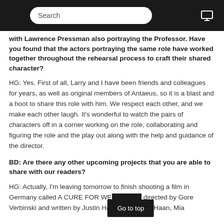Search
with Lawrence Pressman also portraying the Professor. Have you found that the actors portraying the same role have worked together throughout the rehearsal process to craft their shared character?
HG: Yes. First of all, Larry and I have been friends and colleagues for years, as well as original members of Antaeus, so it is a blast and a hoot to share this role with him. We respect each other, and we make each other laugh. It's wonderful to watch the pairs of characters off in a corner working on the role, collaborating and figuring the role and the play out along with the help and guidance of the director.
BD: Are there any other upcoming projects that you are able to share with our readers?
HG: Actually, I'm leaving tomorrow to finish shooting a film in Germany called A CURE FOR WE[LLNESS,] directed by Gore Verbinski and written by Justin Hay[the] Dane DeHaan, Mia